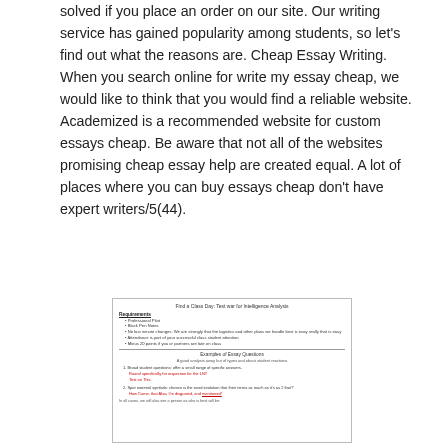solved if you place an order on our site. Our writing service has gained popularity among students, so let's find out what the reasons are. Cheap Essay Writing. When you search online for write my essay cheap, we would like to think that you would find a reliable website. Academized is a recommended website for custom essays cheap. Be aware that not all of the websites promising cheap essay help are created equal. A lot of places where you can buy essays cheap don't have expert writers/5(44).
[Figure (screenshot): Thumbnail image of a document page showing a heading 'Find a Class Day: Test war for Intelligence Analysis', a Requirements section with bullet points, a horizontal rule, an 'Examples of Essay Questions' section with numbered questions and red hyperlinks, and a footer line.]